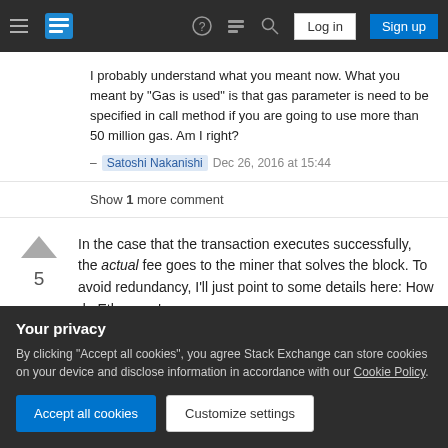Stack Exchange navigation bar with hamburger menu, logo, help, chat, search, Log in, Sign up
I probably understand what you meant now. What you meant by "Gas is used" is that gas parameter is need to be specified in call method if you are going to use more than 50 million gas. Am I right?
– Satoshi Nakanishi  Dec 26, 2016 at 15:44
Show 1 more comment
In the case that the transaction executes successfully, the actual fee goes to the miner that solves the block. To avoid redundancy, I'll just point to some details here: How do Ethereum's
Your privacy
By clicking "Accept all cookies", you agree Stack Exchange can store cookies on your device and disclose information in accordance with our Cookie Policy.
Accept all cookies
Customize settings